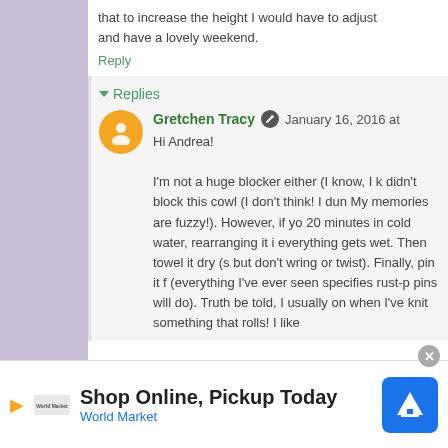that to increase the height I would have to adjust and have a lovely weekend.
Reply
▾ Replies
Gretchen Tracy  January 16, 2016 at
Hi Andrea!

I'm not a huge blocker either (I know, I k didn't block this cowl (I don't think! I dun My memories are fuzzy!). However, if yo 20 minutes in cold water, rearranging it i everything gets wet. Then towel it dry (s but don't wring or twist). Finally, pin it f (everything I've ever seen specifies rust-p pins will do). Truth be told, I usually on when I've knit something that rolls! I like
Shop Online, Pickup Today
World Market